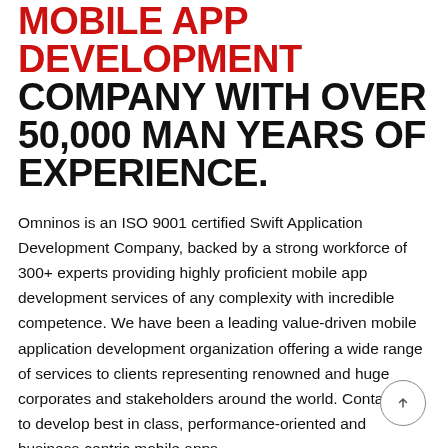NOTCH MOBILE APP DEVELOPMENT COMPANY WITH OVER 50,000 MAN YEARS OF EXPERIENCE.
Omninos is an ISO 9001 certified Swift Application Development Company, backed by a strong workforce of 300+ experts providing highly proficient mobile app development services of any complexity with incredible competence. We have been a leading value-driven mobile application development organization offering a wide range of services to clients representing renowned and huge corporates and stakeholders around the world. Contact us to develop best in class, performance-oriented and business-centric mobile apps.